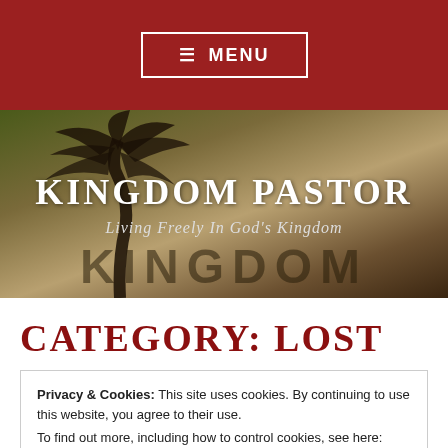≡ MENU
[Figure (photo): Hero banner with palm tree silhouette against a warm sunset background, with 'KINGDOM PASTOR' title and 'Living Freely In God’s Kingdom' subtitle overlaid. 'KINGDOM' watermark text visible at bottom.]
KINGDOM PASTOR
Living Freely In God's Kingdom
CATEGORY: LOST
Privacy & Cookies: This site uses cookies. By continuing to use this website, you agree to their use.
To find out more, including how to control cookies, see here: Cookie Policy
Close and accept
[Figure (photo): Partial view of a dark image strip at the bottom, appears to show dark grainy imagery with a red element.]